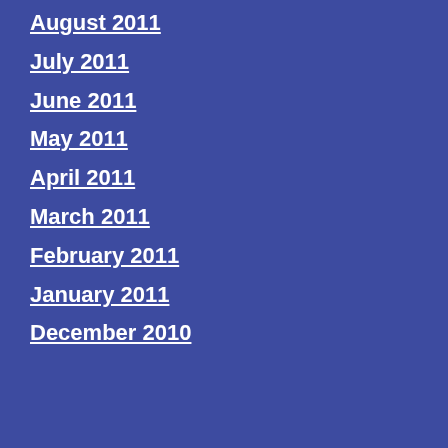August 2011
July 2011
June 2011
May 2011
April 2011
March 2011
February 2011
January 2011
December 2010
More...
Best Female Standup
Best Male Standup
I have plenty of other thoughts on those for another ti
Mar 9, 2010 5:35:34
Delahaye, Hannibal
Silvestri, Morgan Mu
Com
Meet Me I
What do they say a though eight million though, that America but New York City a upon us. I think we of newcomers, up- Me In New York.